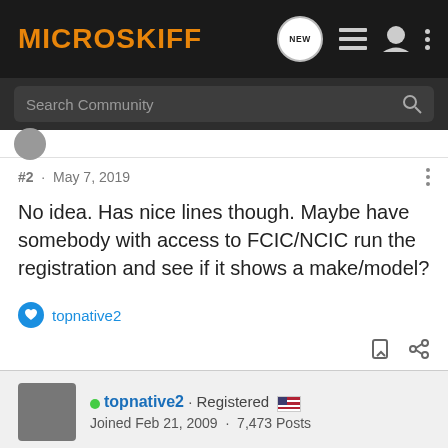MICROSKIFF
Search Community
#2 · May 7, 2019
No idea. Has nice lines though. Maybe have somebody with access to FCIC/NCIC run the registration and see if it shows a make/model?
topnative2
topnative2 · Registered
Joined Feb 21, 2009 · 7,473 Posts